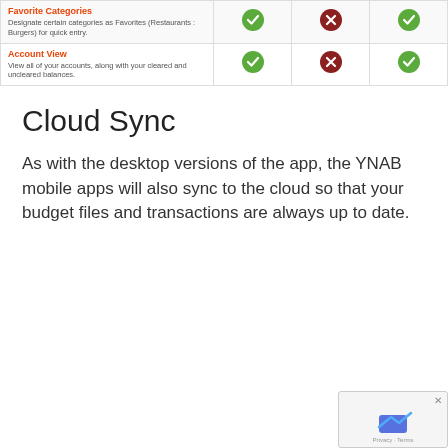| Feature | Col1 | Col2 | Col3 |
| --- | --- | --- | --- |
| Favorite Categories
Designate certain categories as Favorites (Restaurants : Burgers) for quick entry. | ✓ | ✗ | ✓ |
| Account View
View all of your accounts, along with your cleared and uncleared balances. | ✓ | ✗ | ✓ |
Cloud Sync
As with the desktop versions of the app, the YNAB mobile apps will also sync to the cloud so that your budget files and transactions are always up to date.